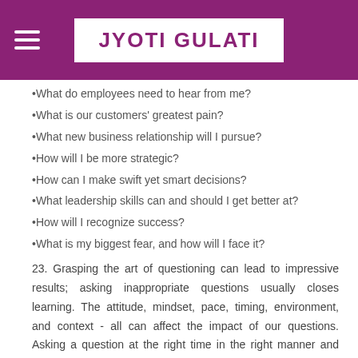JYOTI GULATI
•What do employees need to hear from me?
•What is our customers' greatest pain?
•What new business relationship will I pursue?
•How will I be more strategic?
•How can I make swift yet smart decisions?
•What leadership skills can and should I get better at?
•How will I recognize success?
•What is my biggest fear, and how will I face it?
23. Grasping the art of questioning can lead to impressive results; asking inappropriate questions usually closes learning. The attitude, mindset, pace, timing, environment, and context - all can affect the impact of our questions. Asking a question at the right time in the right manner and with the right person is just as